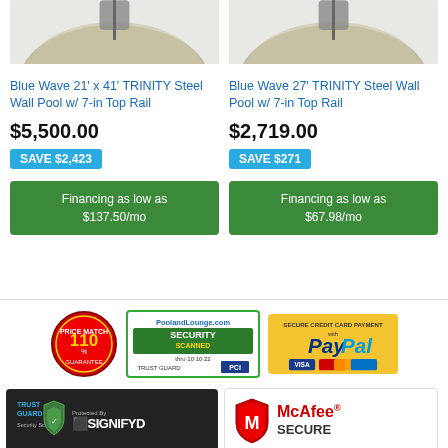[Figure (photo): Top portion of a round above-ground pool spool/frame on left side]
[Figure (photo): Top portion of a round above-ground pool spool/frame on right side]
Blue Wave 21' x 41' TRINITY Steel Wall Pool w/ 7-in Top Rail
Blue Wave 27' TRINITY Steel Wall Pool w/ 7-in Top Rail
$5,500.00
$2,719.00
SAVE $2,423
SAVE $271
Financing as low as $137.50/mo
Financing as low as $67.98/mo
[Figure (logo): 110% Price Match Guarantee badge]
[Figure (logo): PoolandLounge.com Security Scanned Trust Guard PCI badge]
[Figure (logo): Secure Credit Card Payment with PayPal badge]
[Figure (logo): Trust Guard Security Scanned / Protected By Signifyd badge]
[Figure (logo): McAfee Secure badge]